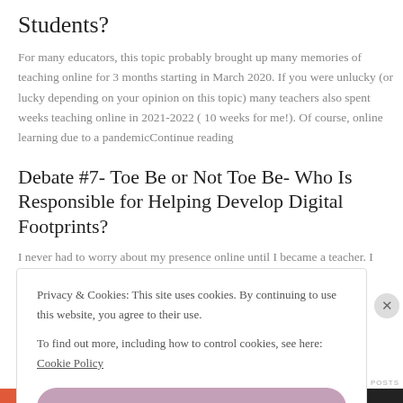Students?
For many educators, this topic probably brought up many memories of teaching online for 3 months starting in March 2020. If you were unlucky (or lucky depending on your opinion on this topic) many teachers also spent weeks teaching online in 2021-2022 ( 10 weeks for me!). Of course, online learning due to a pandemicContinue reading
Debate #7- Toe Be or Not Toe Be- Who Is Responsible for Helping Develop Digital Footprints?
I never had to worry about my presence online until I became a teacher. I didn't use much technology growing up, so I didn't have a lot of my
Privacy & Cookies: This site uses cookies. By continuing to use this website, you agree to their use.
To find out more, including how to control cookies, see here: Cookie Policy
Close and accept